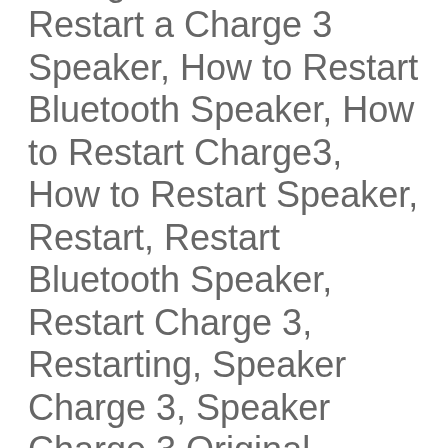Charge 3, How to Restart a Charge 3 Speaker, How to Restart Bluetooth Speaker, How to Restart Charge3, How to Restart Speaker, Restart, Restart Bluetooth Speaker, Restart Charge 3, Restarting, Speaker Charge 3, Speaker Charge 3 Original, Speaker Wireless Bluetooth Charge 3, Speakers Charge 3, Wireless Bluetooth Charge 3, Wireless JBL Charge 3